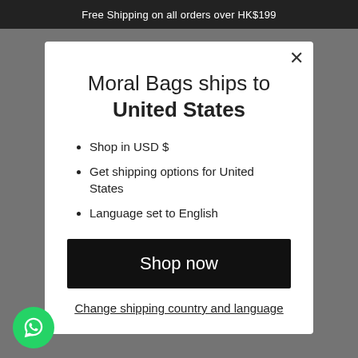Free Shipping on all orders over HK$199
Moral Bags ships to United States
Shop in USD $
Get shipping options for United States
Language set to English
Shop now
Change shipping country and language